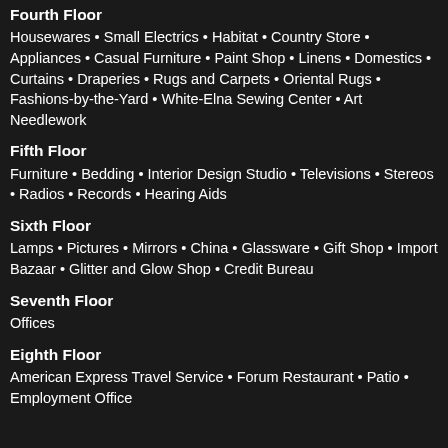Fourth Floor
Housewares • Small Electrics • Habitat • Country Store • Appliances • Casual Furniture • Paint Shop • Linens • Domestics • Curtains • Draperies • Rugs and Carpets • Oriental Rugs • Fashions-by-the-Yard • White-Elna Sewing Center • Art Needlework
Fifth Floor
Furniture • Bedding • Interior Design Studio • Televisions • Stereos • Radios • Records • Hearing Aids
Sixth Floor
Lamps • Pictures • Mirrors • China • Glassware • Gift Shop • Import Bazaar • Glitter and Glow Shop • Credit Bureau
Seventh Floor
Offices
Eighth Floor
American Express Travel Service • Forum Restaurant • Patio • Employment Office